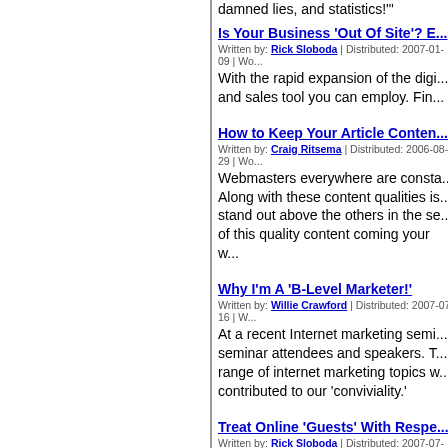damned lies, and statistics!'"
Is Your Business 'Out Of Site'? E...
Written by: Rick Sloboda | Distributed: 2007-01-09 | Wo...
With the rapid expansion of the digi... and sales tool you can employ. Fin...
How to Keep Your Article Conten...
Written by: Craig Ritsema | Distributed: 2006-08-29 | Wo...
Webmasters everywhere are consta... Along with these content qualities is... stand out above the others in the se... of this quality content coming your w...
Why I'm A 'B-Level Marketer!'
Written by: Willie Crawford | Distributed: 2007-07-16 | W...
At a recent Internet marketing semi... seminar attendees and speakers. T... range of internet marketing topics w... contributed to our 'conviviality.'
Treat Online 'Guests' With Respe...
Written by: Rick Sloboda | Distributed: 2007-07-27 | Wo...
Does your website show your custo...
Increasing Productivity In Your C...
Written by: Willie Crawford | Distributed: 2006-06-14 | W...
Running an online "empire" of appr... services and ideas, I have to be m...